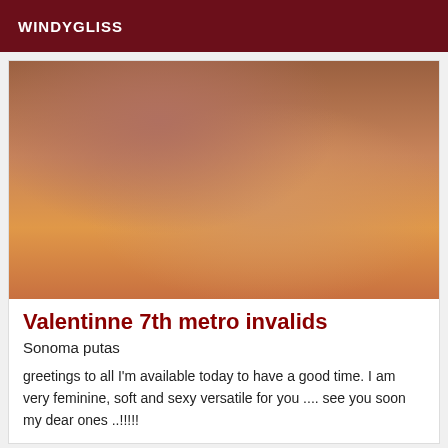WINDYGLISS
[Figure (photo): A person with long dark hair leaning over an orange surface, holding a thin rod or stick, wearing a red bracelet.]
Valentinne 7th metro invalids
Sonoma putas
greetings to all I'm available today to have a good time. I am very feminine, soft and sexy versatile for you .... see you soon my dear ones ..!!!!!
VIP